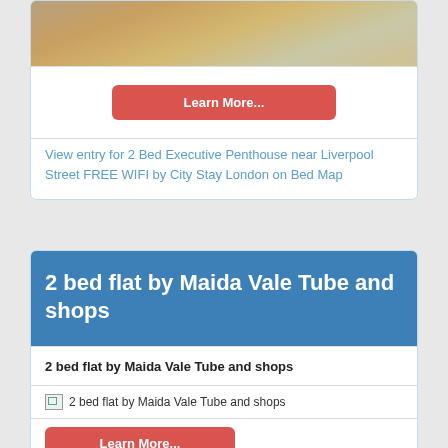[Figure (photo): Interior room photo showing wooden floor, rug, and chairs]
Learn More...
View entry for 2 Bed Executive Penthouse near Liverpool Street FREE WIFI by City Stay London on Bed Map
2 bed flat by Maida Vale Tube and shops
2 bed flat by Maida Vale Tube and shops
[Figure (photo): 2 bed flat by Maida Vale Tube and shops (broken image)]
Learn More...